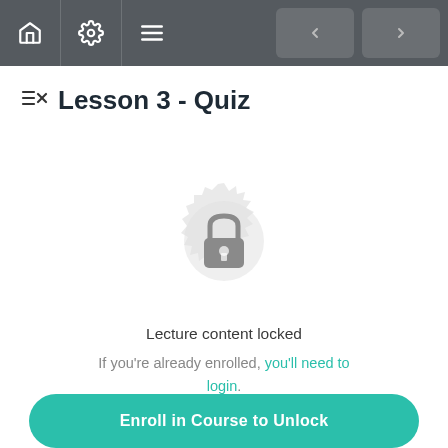Navigation bar with home, settings, menu icons and prev/next buttons
Lesson 3 - Quiz
[Figure (illustration): A locked padlock icon centered on a decorative circular badge/seal shape, all in light gray, indicating locked content]
Lecture content locked
If you're already enrolled, you'll need to login.
Enroll in Course to Unlock